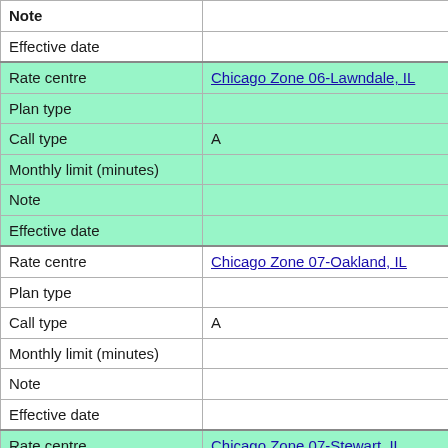| Field | Value |
| --- | --- |
| Note |  |
| Effective date |  |
| Rate centre | Chicago Zone 06-Lawndale, IL |
| Plan type |  |
| Call type | A |
| Monthly limit (minutes) |  |
| Note |  |
| Effective date |  |
| Rate centre | Chicago Zone 07-Oakland, IL |
| Plan type |  |
| Call type | A |
| Monthly limit (minutes) |  |
| Note |  |
| Effective date |  |
| Rate centre | Chicago Zone 07-Stewart, IL |
| Plan type |  |
| Call type | A |
| Monthly limit (minutes) |  |
| Note |  |
| Effective date |  |
| Rate centre | Chicago Zone 08-Portsmouth, IL |
| Plan type |  |